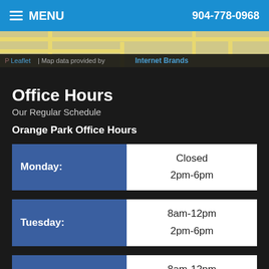MENU  904-778-0968
[Figure (map): Partial map strip with 'Leaflet | Map data provided by Internet Brands' attribution bar]
Office Hours
Our Regular Schedule
Orange Park Office Hours
| Day | Hours |
| --- | --- |
| Monday: | Closed
2pm-6pm |
| Tuesday: | 8am-12pm
2pm-6pm |
| Wednesday: | 8am-12pm
2pm-6pm |